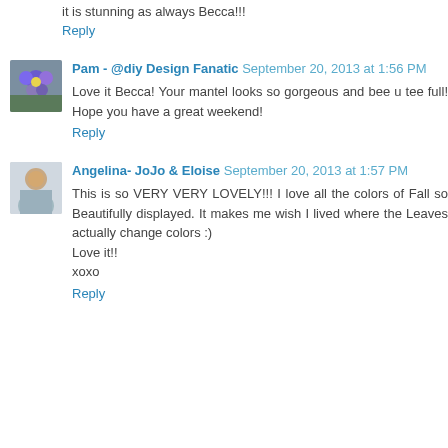it is stunning as always Becca!!!
Reply
Pam - @diy Design Fanatic  September 20, 2013 at 1:56 PM
Love it Becca! Your mantel looks so gorgeous and bee u tee full! Hope you have a great weekend!
Reply
Angelina- JoJo & Eloise  September 20, 2013 at 1:57 PM
This is so VERY VERY LOVELY!!! I love all the colors of Fall so Beautifully displayed. It makes me wish I lived where the Leaves actually change colors :)
Love it!!
xoxo
Reply